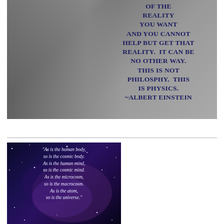[Figure (photo): Black and white photo of Albert Einstein holding a fishing rod, with a large text overlay quote in dark blue uppercase serif font reading: 'OF THE REALITY YOU WANT AND YOU CANNOT HELP BUT GET THAT REALITY. IT CAN BE NO OTHER WAY. THIS IS NOT PHILOSPHY. THIS IS PHYSICS. ~ALBERT EINSTEIN']
[Figure (photo): Space/cosmic nebula background image with italic white text quote: 'As is the human body, so is the cosmic body. As is the human mind, so is the cosmic mind. As is the microcosm, so is the macrocosm. As is the atom, ...']